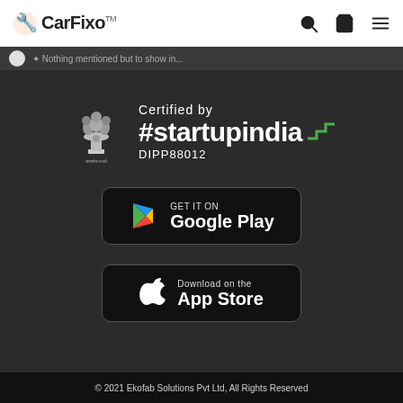[Figure (logo): CarFixo logo with wrench-and-car icon, the word CarFixo in bold, and TM superscript]
[Figure (infographic): Startup India certification badge showing Indian Government emblem, 'Certified by #startupindia DIPP88012' with green step logo]
[Figure (screenshot): Google Play Store download button - GET IT ON Google Play]
[Figure (screenshot): Apple App Store download button - Download on the App Store]
© 2021 Ekofab Solutions Pvt Ltd, All Rights Reserved